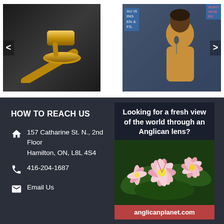[Figure (photo): Gold gavel/mallet on dark background]
[Figure (photo): Woman speaking at microphone at a protest, with blue protest signs visible]
HOW TO REACH US
157 Catharine St. N., 2nd Floor
Hamilton, ON,  L8L 4S4
416-204-1687
Email Us
[Figure (photo): Advertisement for anglicanplanet.com showing pink and white lilies with text: Looking for a fresh view of the world through an Anglican lens? anglicanplanet.com]